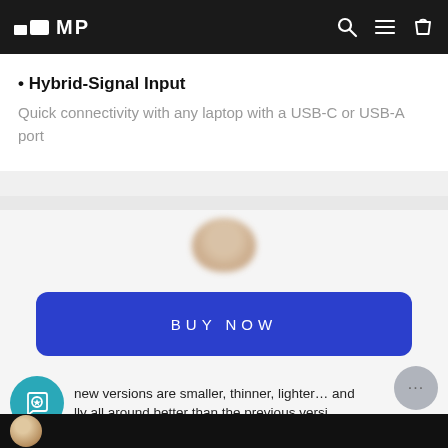MP
Hybrid-Signal Input
Quick connectivity with any laptop with a USB-C or USB-A port
[Figure (other): Blue 'BUY NOW' button with rounded corners on a light gray background, with a blurred avatar photo above it]
[Figure (other): Teal shopping bag with heart icon circle, review text: new versions are smaller, thinner, lighter... and lly all around better than the previous versi]
- iJustine -
[Figure (photo): Bottom strip showing a person's face on a dark background]